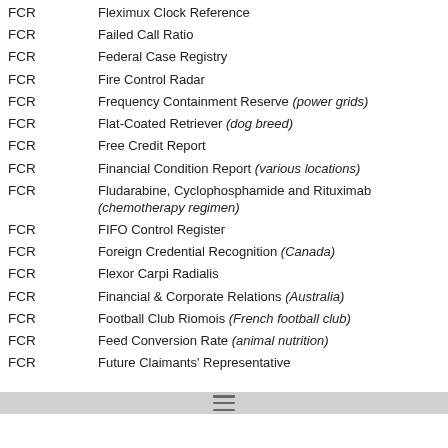FCR — Fleximux Clock Reference
FCR — Failed Call Ratio
FCR — Federal Case Registry
FCR — Fire Control Radar
FCR — Frequency Containment Reserve (power grids)
FCR — Flat-Coated Retriever (dog breed)
FCR — Free Credit Report
FCR — Financial Condition Report (various locations)
FCR — Fludarabine, Cyclophosphamide and Rituximab (chemotherapy regimen)
FCR — FIFO Control Register
FCR — Foreign Credential Recognition (Canada)
FCR — Flexor Carpi Radialis
FCR — Financial & Corporate Relations (Australia)
FCR — Football Club Riomois (French football club)
FCR — Feed Conversion Rate (animal nutrition)
FCR — Future Claimants' Representative